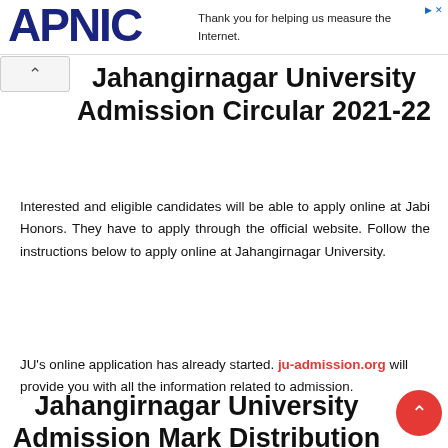APNIC — Thank you for helping us measure the Internet.
Jahangirnagar University Admission Circular 2021-22
Interested and eligible candidates will be able to apply online at Jabi Honors. They have to apply through the official website. Follow the instructions below to apply online at Jahangirnagar University.
JU's online application has already started. ju-admission.org will provide you with all the information related to admission.
Jahangirnagar University Admission Mark Distribution